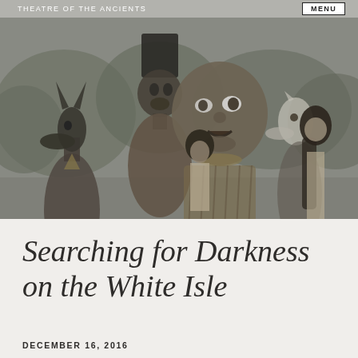THEATRE OF THE ANCIENTS
[Figure (photo): Black and white photograph of performers in large ancient-style masks and costumes including animal-headed figures (Anubis-like) and a large human face mask, with trees in the background and a woman with long dark hair visible to the right.]
Searching for Darkness on the White Isle
DECEMBER 16, 2016